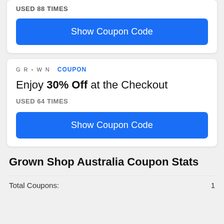USED 88 TIMES
Show Coupon Code
GR•WN  COUPON
Enjoy 30% Off at the Checkout
USED 64 TIMES
Show Coupon Code
Grown Shop Australia Coupon Stats
Total Coupons:  1